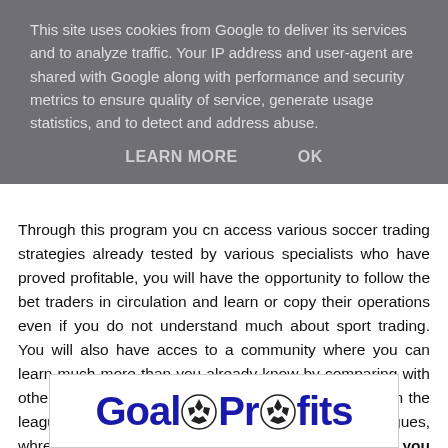This site uses cookies from Google to deliver its services and to analyze traffic. Your IP address and user-agent are shared with Google along with performance and security metrics to ensure quality of service, generate usage statistics, and to detect and address abuse.
LEARN MORE   OK
Through this program you cn access various soccer trading strategies already tested by various specialists who have proved profitable, you will have the opportunity to follow the bet traders in circulation and learn or copy their operations even if you do not understand much about sport trading. You will also have acces to a community where you can learn much more than you already know by comparing with other users, you will always be informed 365 a year on the leagues around the world especially the minor leagues, whre often bookmakers are wrong the quotation and you can find valuable bets.
[Figure (logo): GoalProfits logo with soccer ball replacing the letter 'o' in 'Goal', blue bold text]